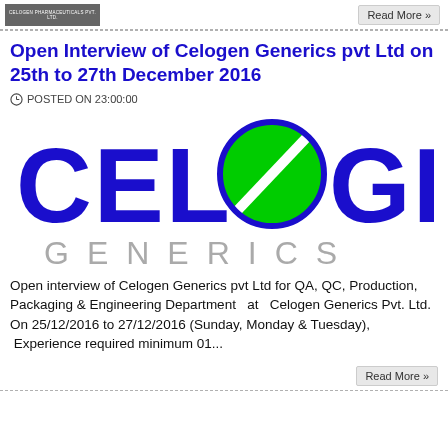[Figure (logo): Small pharmaceutical company thumbnail image at top left]
Read More »
Open Interview of Celogen Generics pvt Ltd on 25th to 27th December 2016
POSTED ON 23:00:00
[Figure (logo): Celogen Generics logo — large blue CELOGEN text with green pill/circle replacing the O, and grey GENERICS text below]
Open interview of Celogen Generics pvt Ltd for QA, QC, Production, Packaging & Engineering Department  at  Celogen Generics Pvt. Ltd. On 25/12/2016 to 27/12/2016 (Sunday, Monday & Tuesday),  Experience required minimum 01...
Read More »